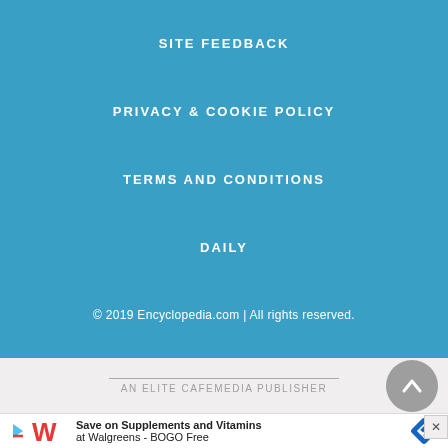SITE FEEDBACK
PRIVACY & COOKIE POLICY
TERMS AND CONDITIONS
DAILY
© 2019 Encyclopedia.com | All rights reserved.
AN ELITE CAFEMEDIA PUBLISHER
Save on Supplements and Vitamins at Walgreens - BOGO Free